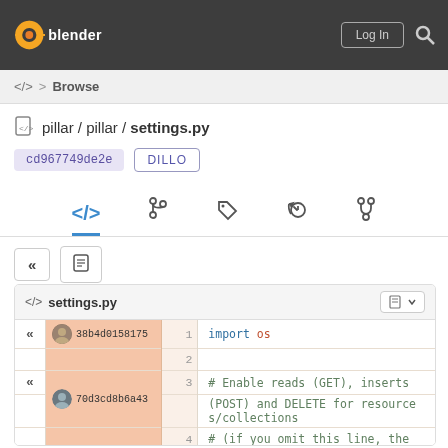[Figure (screenshot): Blender developer portal header with logo, Log In button, and search icon]
<> > Browse
pillar / pillar / settings.py
cd967749de2e   DILLO
[Figure (screenshot): Navigation tab bar with code, branch, tag, history, and fork icons; code tab active and highlighted in blue]
[Figure (screenshot): Action buttons: rewind (<<) and document icon]
[Figure (screenshot): Code viewer panel showing settings.py with commit annotations. Line 1: import os. Lines 3-4: # Enable reads (GET), inserts (POST) and DELETE for resources/collections. Line 4: # (if you omit this line, the...]